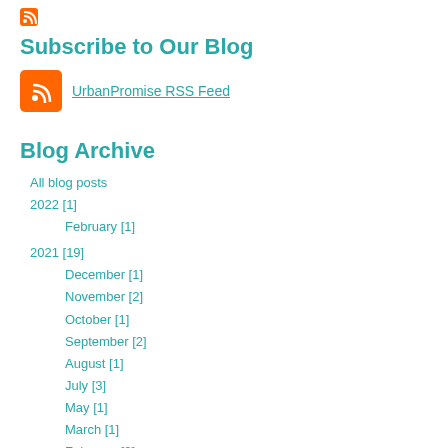Subscribe to Our Blog
UrbanPromise RSS Feed
Blog Archive
All blog posts
2022 [1]
February [1]
2021 [19]
December [1]
November [2]
October [1]
September [2]
August [1]
July [3]
May [1]
March [1]
February [2]
January [5]